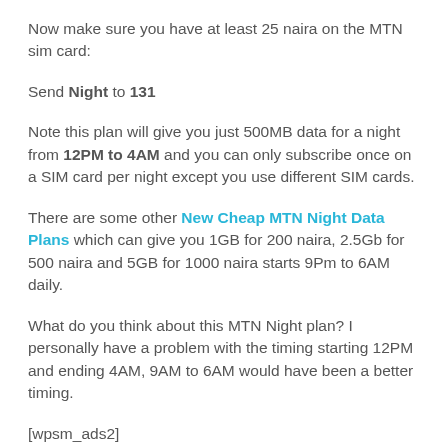Now make sure you have at least 25 naira on the MTN sim card:
Send Night to 131
Note this plan will give you just 500MB data for a night from 12PM to 4AM and you can only subscribe once on a SIM card per night except you use different SIM cards.
There are some other New Cheap MTN Night Data Plans which can give you 1GB for 200 naira, 2.5Gb for 500 naira and 5GB for 1000 naira starts 9Pm to 6AM daily.
What do you think about this MTN Night plan? I personally have a problem with the timing starting 12PM and ending 4AM, 9AM to 6AM would have been a better timing.
[wpsm_ads2]